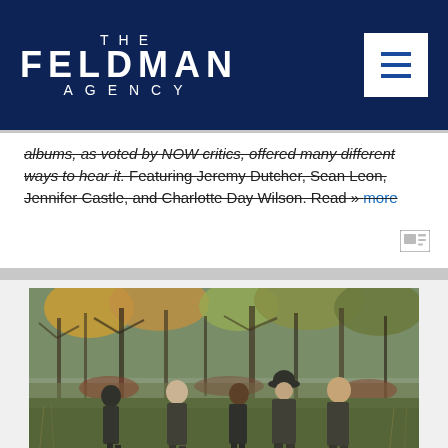[Figure (logo): The Feldman Agency logo in white text on dark navy blue background, with hamburger menu icon on the right]
albums, as voted by NOW critics, offered many different ways to hear it. Featuring Jeremy Dutcher, Sean Leon, Jennifer Castle, and Charlotte Day Wilson. Read » more
[Figure (photo): A group of five men walking in an overgrown field with bare autumn trees in the background, wearing dark casual clothing]